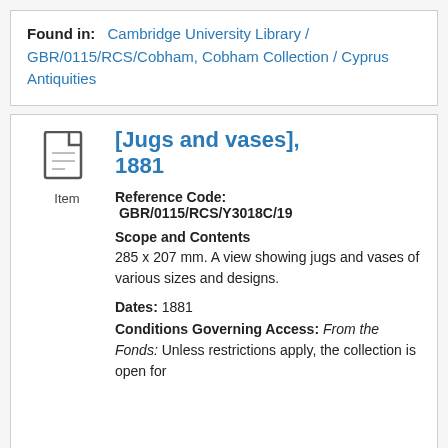Found in: Cambridge University Library / GBR/0115/RCS/Cobham, Cobham Collection / Cyprus Antiquities
[Jugs and vases], 1881
Reference Code: GBR/0115/RCS/Y3018C/19
Scope and Contents
285 x 207 mm. A view showing jugs and vases of various sizes and designs.
Dates: 1881
Conditions Governing Access: From the Fonds: Unless restrictions apply, the collection is open for